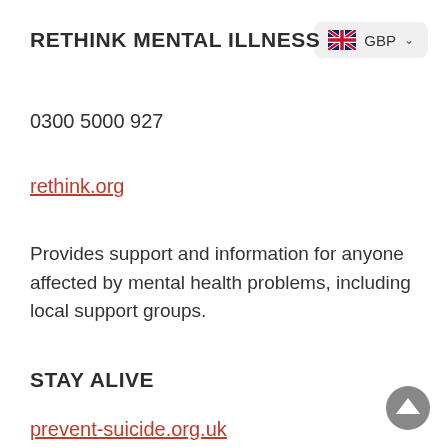RETHINK MENTAL ILLNESS
0300 5000 927
rethink.org
Provides support and information for anyone affected by mental health problems, including local support groups.
STAY ALIVE
prevent-suicide.org.uk